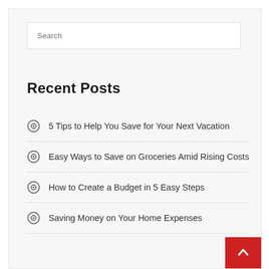Search
Recent Posts
5 Tips to Help You Save for Your Next Vacation
Easy Ways to Save on Groceries Amid Rising Costs
How to Create a Budget in 5 Easy Steps
Saving Money on Your Home Expenses